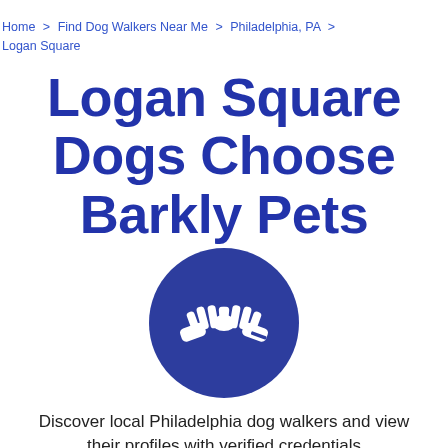Home > Find Dog Walkers Near Me > Philadelphia, PA > Logan Square
Logan Square Dogs Choose Barkly Pets
[Figure (illustration): Dark blue circle with white handshake icon in the center]
Discover local Philadelphia dog walkers and view their profiles with verified credentials